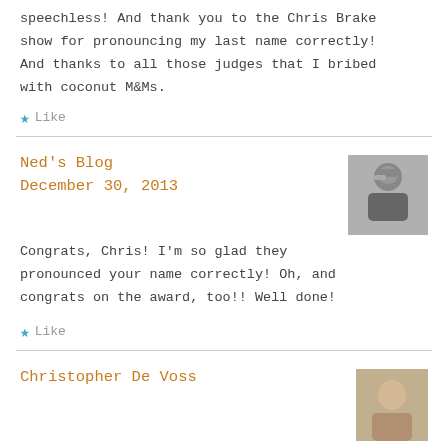speechless! And thank you to the Chris Brake show for pronouncing my last name correctly! And thanks to all those judges that I bribed with coconut M&Ms.
Like
Ned's Blog
December 30, 2013
Congrats, Chris! I'm so glad they pronounced your name correctly! Oh, and congrats on the award, too!! Well done!
Like
Christopher De Voss